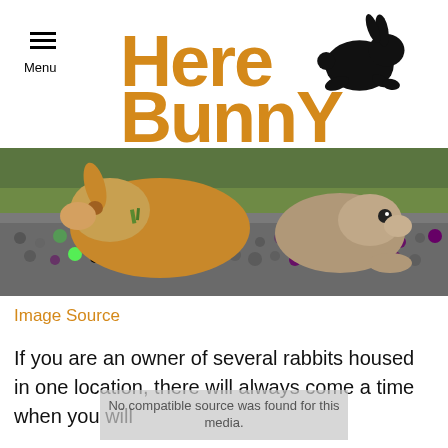[Figure (logo): Here Bunny logo with orange bold text 'Here Bunny' and a black jumping rabbit silhouette]
[Figure (photo): Two brown/tan rabbits sitting on a pile of grey pebbles/droppings with green grass background]
Image Source
If you are an owner of several rabbits housed in one location, there will always come a time when you will
No compatible source was found for this media.